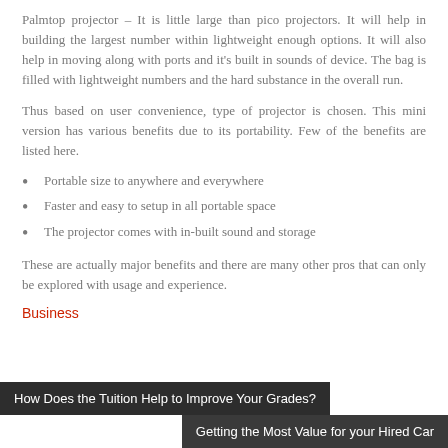Palmtop projector – It is little large than pico projectors. It will help in building the largest number within lightweight enough options. It will also help in moving along with ports and it's built in sounds of device. The bag is filled with lightweight numbers and the hard substance in the overall run.
Thus based on user convenience, type of projector is chosen. This mini version has various benefits due to its portability. Few of the benefits are listed here.
Portable size to anywhere and everywhere
Faster and easy to setup in all portable space
The projector comes with in-built sound and storage
These are actually major benefits and there are many other pros that can only be explored with usage and experience.
Business
How Does the Tuition Help to Improve Your Grades?
Getting the Most Value for your Hired Car